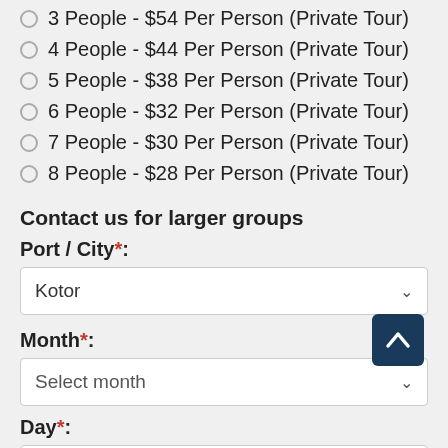3 People - $54 Per Person (Private Tour)
4 People - $44 Per Person (Private Tour)
5 People - $38 Per Person (Private Tour)
6 People - $32 Per Person (Private Tour)
7 People - $30 Per Person (Private Tour)
8 People - $28 Per Person (Private Tour)
Contact us for larger groups
Port / City*:
Kotor
Month*:
Select month
Day*:
Select day